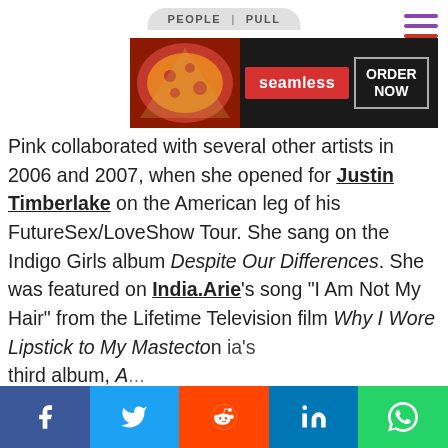[Figure (screenshot): People / Pull pill navigation tab at top]
[Figure (screenshot): Hamburger menu icon top right]
[Figure (screenshot): Seamless food delivery advertisement banner]
Pink collaborated with several other artists in 2006 and 2007, when she opened for Justin Timberlake on the American leg of his FutureSex/LoveShow Tour. She sang on the Indigo Girls album Despite Our Differences. She was featured on India.Arie's song "I Am Not My Hair" from the Lifetime Television film Why I Wore Lipstick to My Mastectomy. She... [partially obscured] ...ia's third album, A... [partially obscured] ...another song... [partially obscured] ...pop singer Hilary [partially obscured] ...Dignity. Pink [partially obscured]
[Figure (screenshot): Cookie consent popup with gradient purple-to-pink background reading: This website uses cookies to ensure you get the best experience on our website. Learn more. Got it! button.]
[Figure (screenshot): Social media sharing bar at bottom with Facebook, Twitter, Reddit, LinkedIn, WhatsApp icons]